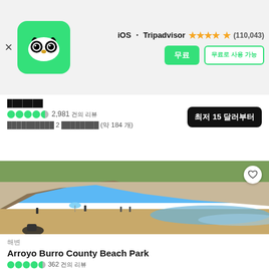[Figure (screenshot): Tripadvisor app icon - green rounded square with white owl face]
iOS ・ Tripadvisor ★★★★½ (110,043)
무료 받기  　무료로 사용 가능
뒤로가기
2,981 건의 리뷰
가장 가까운 2 개의 명소 (약 184 개)
최저 15 달러부터
[Figure (photo): Beach photo showing Arroyo Burro County Beach Park with cliffs, blue sky, and people on the beach]
해변
Arroyo Burro County Beach Park
362 건의 리뷰